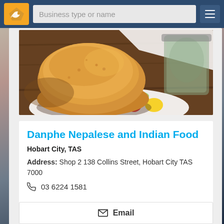Business type or name
[Figure (photo): Food photo showing a bread roll/burger bun with salad vegetables (tomato, cucumber, onion, lettuce, lemon) on a white plate on a dark wooden table, with a glass jar in the background]
Danphe Nepalese and Indian Food
Hobart City, TAS
Address: Shop 2 138 Collins Street, Hobart City TAS 7000
03 6224 1581
Email